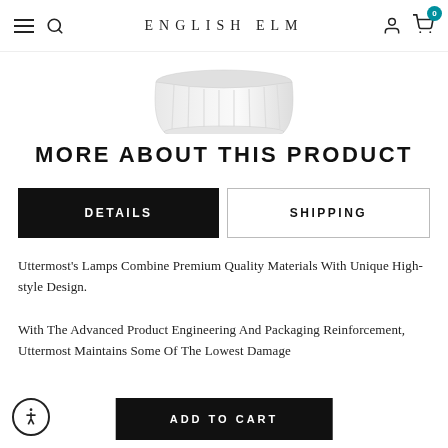ENGLISH ELM
[Figure (photo): White ribbed lampshade product image, partial view at top]
MORE ABOUT THIS PRODUCT
DETAILS | SHIPPING tabs
Uttermost's Lamps Combine Premium Quality Materials With Unique High-style Design.
With The Advanced Product Engineering And Packaging Reinforcement, Uttermost Maintains Some Of The Lowest Damage